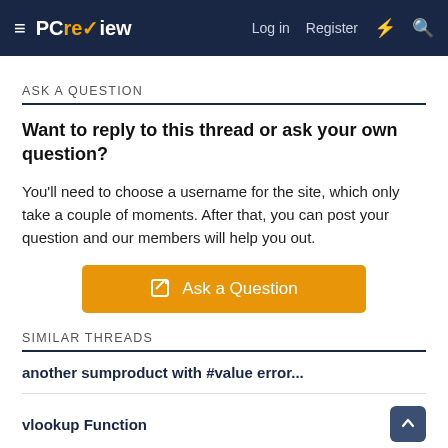PCreview — Log in   Register
ASK A QUESTION
Want to reply to this thread or ask your own question?
You'll need to choose a username for the site, which only take a couple of moments. After that, you can post your question and our members will help you out.
[Figure (other): Orange button labeled 'Ask a Question' with an edit/pencil icon]
SIMILAR THREADS
another sumproduct with #value error...
vlookup Function
How to use the IF Function for 3 conditions